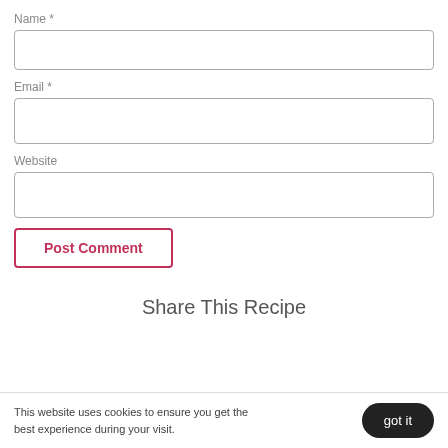Name *
[Figure (other): Empty text input field for Name]
Email *
[Figure (other): Empty text input field for Email]
Website
[Figure (other): Empty text input field for Website]
[Figure (other): Post Comment button with pink border and text]
Share This Recipe
This website uses cookies to ensure you get the best experience during your visit.